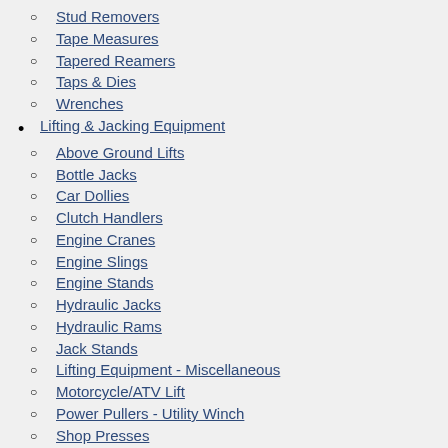Stud Removers
Tape Measures
Tapered Reamers
Taps & Dies
Wrenches
Lifting & Jacking Equipment
Above Ground Lifts
Bottle Jacks
Car Dollies
Clutch Handlers
Engine Cranes
Engine Slings
Engine Stands
Hydraulic Jacks
Hydraulic Rams
Jack Stands
Lifting Equipment - Miscellaneous
Motorcycle/ATV Lift
Power Pullers - Utility Winch
Shop Presses
Transmission Jacks
Tripod Stands
Truck Axle Jacks
Truck Ramps
Truck Steps